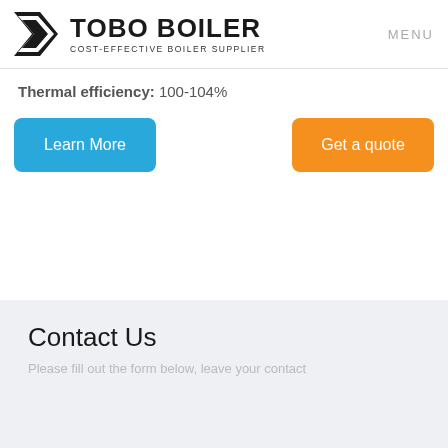TOBO BOILER — COST-EFFECTIVE BOILER SUPPLIER | MENU
Thermal efficiency: 100-104%
Learn More
Get a quote
Contact Us
Please fill out the form below, leave your contact